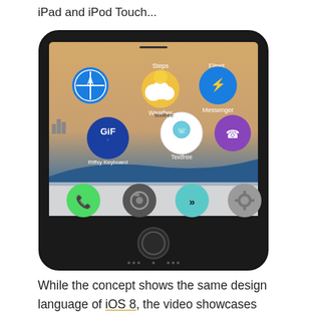iPad and iPod Touch...
[Figure (photo): Screenshot of an iPhone showing the iOS home screen with various app icons including Safari, Steps, Weather (with sun and cloud), Fitnet, GIF (Riffsy Keyboard), Textfree, Messenger, Viber, and a dock with Phone, Camera, a custom app, and Settings. The phone has a dark bezel and home button.]
While the concept shows the same design language of iOS 8, the video showcases numerous new features. Here are the summarized list of proposed features of iOS 9 showcased in the